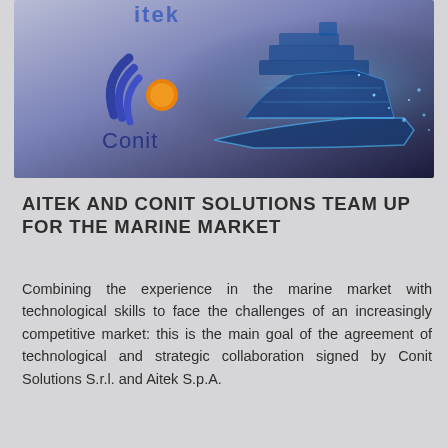[Figure (illustration): Banner image showing the Aitek logo (partial, top) and Conit logo (blue wave arcs with orange sun circle and 'Conit' text) over a dark blue/purple gradient background with a large cruise ship rendered in glowing blue digital style on the right side.]
AITEK AND CONIT SOLUTIONS TEAM UP FOR THE MARINE MARKET
Combining the experience in the marine market with technological skills to face the challenges of an increasingly competitive market: this is the main goal of the agreement of technological and strategic collaboration signed by Conit Solutions S.r.l. and Aitek S.p.A.